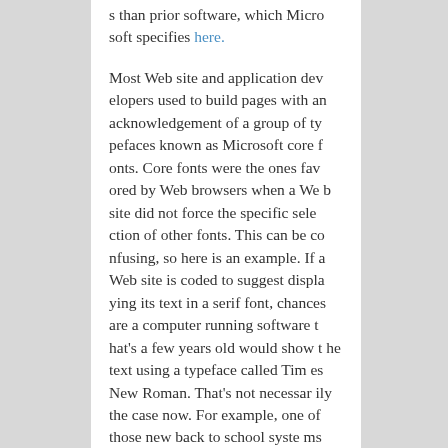s than prior software, which Microsoft specifies here.
Most Web site and application developers used to build pages with an acknowledgement of a group of typefaces known as Microsoft core fonts. Core fonts were the ones favored by Web browsers when a Web site did not force the specific selection of other fonts. This can be confusing, so here is an example. If a Web site is coded to suggest displaying its text in a serif font, chances are a computer running software that's a few years old would show the text using a typeface called Times New Roman. That's not necessarily the case now. For example, one of those new back to school systems you saw on the Web will come with Windows 7, Internet Explorer 8, possibly the student version of Office and an inclination to display